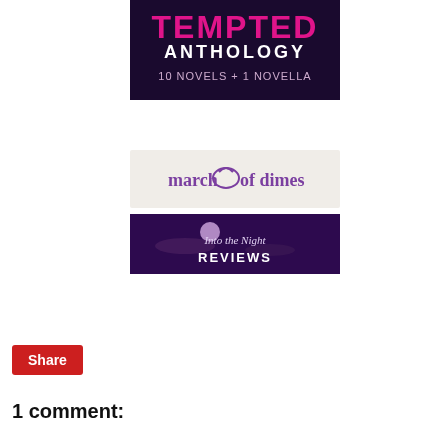[Figure (illustration): Tempted Anthology book cover: text 'TEMPTED ANTHOLOGY 10 NOVELS + 1 NOVELLA' on dark purple/black background with large pink/magenta letters]
[Figure (logo): March of Dimes logo on light background with purple text and swirl icon]
[Figure (illustration): Into the Night Reviews banner: dark purple background with moon and clouds, stylized text 'Into the Night REVIEWS']
Share
1 comment: